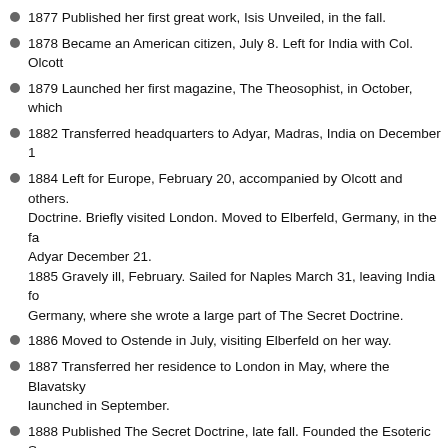1877 Published her first great work, Isis Unveiled, in the fall.
1878 Became an American citizen, July 8. Left for India with Col. Olcott
1879 Launched her first magazine, The Theosophist, in October, which
1882 Transferred headquarters to Adyar, Madras, India on December 1
1884 Left for Europe, February 20, accompanied by Olcott and others. Doctrine. Briefly visited London. Moved to Elberfeld, Germany, in the fa Adyar December 21.
1885 Gravely ill, February. Sailed for Naples March 31, leaving India fo Germany, where she wrote a large part of The Secret Doctrine.
1886 Moved to Ostende in July, visiting Elberfeld on her way.
1887 Transferred her residence to London in May, where the Blavatsky launched in September.
1888 Published The Secret Doctrine, late fall. Founded the Esoteric Sc
1889 Published The Key to Theosophy and The Voice of the Silence.
1890 Established European headquarters of the Theosophical Society,
1891 Died May 8. Cremated at Woking Crematorium, Surrey, England.
Note: Chronology taken from "H.P.B.: The Extraordinary Life and Influence Movement" by Sylvia Cranston - the best biography of Madame Blavatsky. has swirled around Madame Blavatsky. If you are interested, see also: Refu
William Q. Judge, a co-founder of the Theosophical Society and Movement